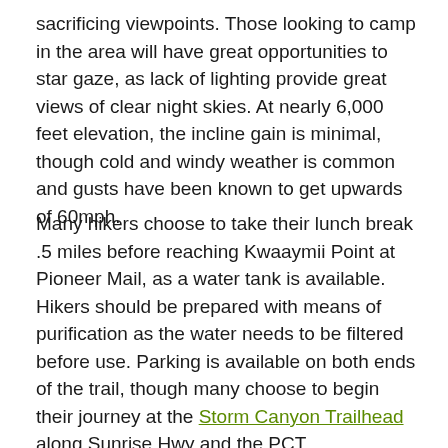sacrificing viewpoints. Those looking to camp in the area will have great opportunities to star gaze, as lack of lighting provide great views of clear night skies. At nearly 6,000 feet elevation, the incline gain is minimal, though cold and windy weather is common and gusts have been known to get upwards of 60mph.
Many hikers choose to take their lunch break .5 miles before reaching Kwaaymii Point at Pioneer Mail, as a water tank is available. Hikers should be prepared with means of purification as the water needs to be filtered before use. Parking is available on both ends of the trail, though many choose to begin their journey at the Storm Canyon Trailhead along Sunrise Hwy and the PCT.